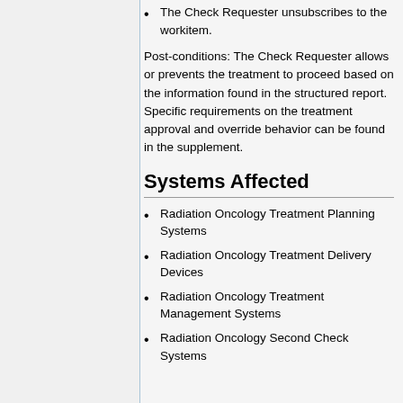The Check Requester unsubscribes to the workitem.
Post-conditions: The Check Requester allows or prevents the treatment to proceed based on the information found in the structured report. Specific requirements on the treatment approval and override behavior can be found in the supplement.
Systems Affected
Radiation Oncology Treatment Planning Systems
Radiation Oncology Treatment Delivery Devices
Radiation Oncology Treatment Management Systems
Radiation Oncology Second Check Systems